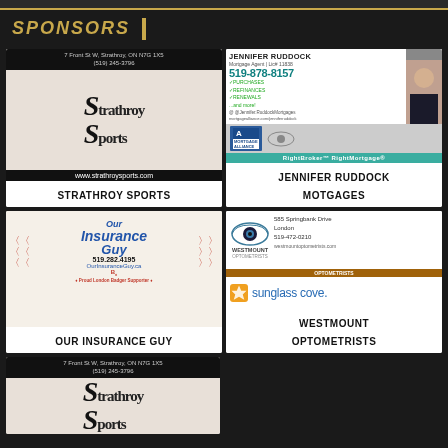SPONSORS
[Figure (photo): Strathroy Sports sponsor card with address 7 Front St W, Strathroy, ON N7G 1X5, phone (519) 245-3796, logo, and website www.strathroysports.com]
STRATHROY SPORTS
[Figure (photo): Jennifer Ruddock Mortgage Agent card with phone 519-878-8157, Mortgage Alliance logo, RightBroker RightMortgage branding]
JENNIFER RUDDOCK MOTGAGES
[Figure (photo): Our Insurance Guy card with phone 519.282.4195, OurInsuranceGuy.ca, Proud London Badger Supporter]
OUR INSURANCE GUY
[Figure (photo): Westmount Optometrists card at 585 Springbank Drive London, 519-472-0210, westmountoptometrists.com, Sunglass Cove logo]
WESTMOUNT OPTOMETRISTS
[Figure (photo): Strathroy Sports second card with address 7 Front St W, Strathroy, ON N7G 1X5, phone (519) 245-3796, logo visible]